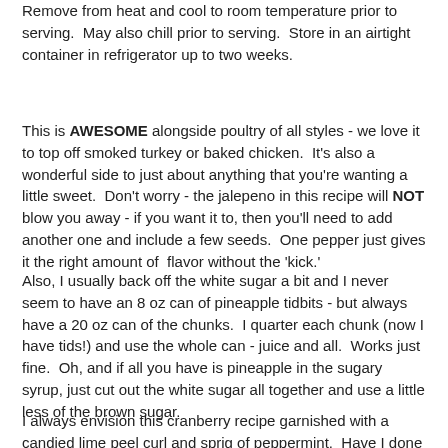Remove from heat and cool to room temperature prior to serving.  May also chill prior to serving.  Store in an airtight container in refrigerator up to two weeks.
This is AWESOME alongside poultry of all styles - we love it to top off smoked turkey or baked chicken.  It's also a wonderful side to just about anything that you're wanting a little sweet.  Don't worry - the jalepeno in this recipe will NOT blow you away - if you want it to, then you'll need to add another one and include a few seeds.  One pepper just gives it the right amount of  flavor without the 'kick.'
Also, I usually back off the white sugar a bit and I never seem to have an 8 oz can of pineapple tidbits - but always have a 20 oz can of the chunks.  I quarter each chunk (now I have tids!) and use the whole can - juice and all.  Works just fine.  Oh, and if all you have is pineapple in the sugary syrup, just cut out the white sugar all together and use a little less of the brown sugar.
I always envision this cranberry recipe garnished with a candied lime peel curl and sprig of peppermint.  Have I done